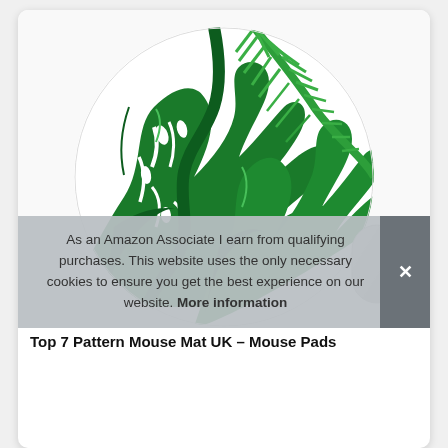[Figure (photo): Round mouse mat with tropical green leaf pattern (monstera and palm leaves on white background), with a grey wireless mouse partially visible at lower right]
As an Amazon Associate I earn from qualifying purchases. This website uses the only necessary cookies to ensure you get the best experience on our website. More information
Top 7 Pattern Mouse Mat UK – Mouse Pads